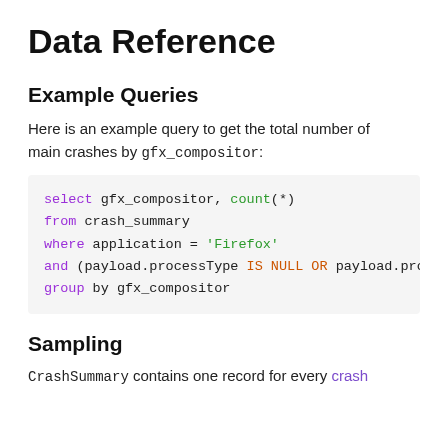Data Reference
Example Queries
Here is an example query to get the total number of main crashes by gfx_compositor:
Sampling
CrashSummary contains one record for every crash